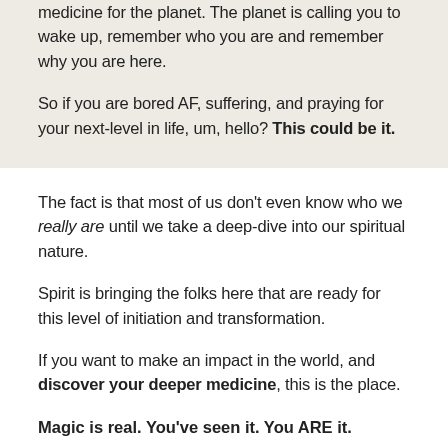medicine for the planet. The planet is calling you to wake up, remember who you are and remember why you are here.
So if you are bored AF, suffering, and praying for your next-level in life, um, hello? This could be it.
The fact is that most of us don't even know who we really are until we take a deep-dive into our spiritual nature.
Spirit is bringing the folks here that are ready for this level of initiation and transformation.
If you want to make an impact in the world, and discover your deeper medicine, this is the place.
Magic is real. You've seen it. You ARE it.